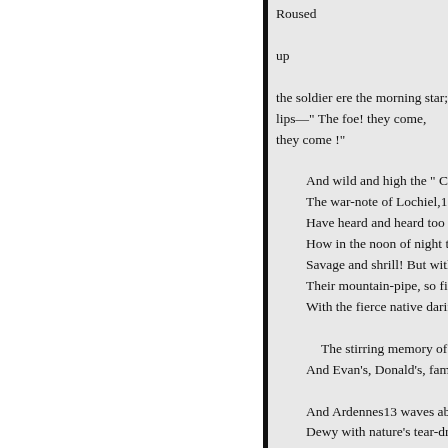Roused

up

the soldier ere the morning star;
lips—" The foe! they come,
they come !"

And wild and high the " Ca
The war-note of Lochiel,10
Have heard and heard too h
How in the noon of night th
Savage and shrill! But with
Their mountain-pipe, so fill
With the fierce native darin

  The stirring memory of a t
And Evan's, Donald's, fame

And Ardennes13 waves abo
Dewy with nature's tear-dro
Grieving—if aught inanima
Over the unreturning brave;
Ere evening to be trodden li
Which ...